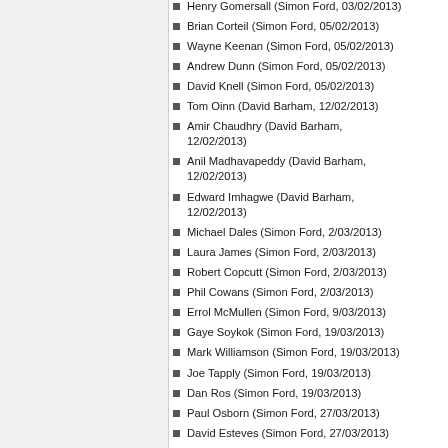Henry Gomersall (Simon Ford, 03/02/2013)
Brian Corteil (Simon Ford, 05/02/2013)
Wayne Keenan (Simon Ford, 05/02/2013)
Andrew Dunn (Simon Ford, 05/02/2013)
David Knell (Simon Ford, 05/02/2013)
Tom Oinn (David Barham, 12/02/2013)
Amir Chaudhry (David Barham, 12/02/2013)
Anil Madhavapeddy (David Barham, 12/02/2013)
Edward Imhagwe (David Barham, 12/02/2013)
Michael Dales (Simon Ford, 2/03/2013)
Laura James (Simon Ford, 2/03/2013)
Robert Copcutt (Simon Ford, 2/03/2013)
Phil Cowans (Simon Ford, 2/03/2013)
Errol McMullen (Simon Ford, 9/03/2013)
Gaye Soykok (Simon Ford, 19/03/2013)
Mark Williamson (Simon Ford, 19/03/2013)
Joe Tapply (Simon Ford, 19/03/2013)
Dan Ros (Simon Ford, 19/03/2013)
Paul Osborn (Simon Ford, 27/03/2013)
David Esteves (Simon Ford, 27/03/2013)